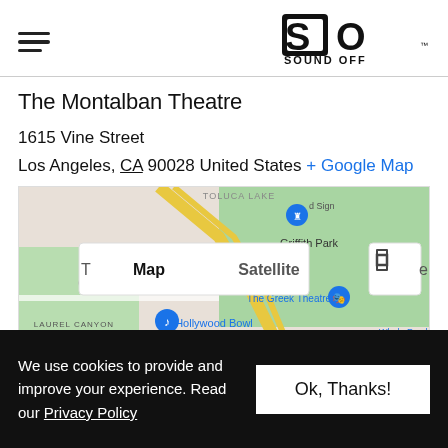Sound Off [logo] with hamburger menu
The Montalban Theatre
1615 Vine Street
Los Angeles, CA 90028 United States + Google Map
[Figure (map): Google Map showing area around Hollywood, California with markers for Hollywood Bowl, The Greek Theatre, Griffith Park, Laurel Canyon, and a red pin indicating The Montalban Theatre on Vine Street. Map/Satellite toggle visible at top.]
We use cookies to provide and improve your experience. Read our Privacy Policy